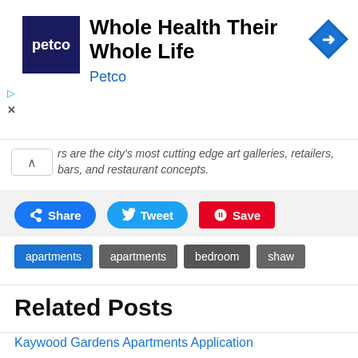[Figure (illustration): Petco advertisement banner with Petco logo (dark blue square with petco in white text), headline 'Whole Health Their Whole Life', subheading 'Petco' in blue, and a blue diamond-shaped navigation arrow icon on the right. Close and play icons on the left edge.]
…rs are the city's most cutting edge art galleries, retailers, bars, and restaurant concepts.
Share  Tweet  Save
apartments
apartments
bedroom
shaw
Related Posts
Kaywood Gardens Apartments Application